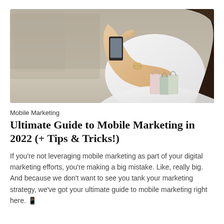[Figure (photo): Woman in white sleeveless top holding a smartphone and shopping bags, blurred indoor background]
Mobile Marketing
Ultimate Guide to Mobile Marketing in 2022 (+ Tips & Tricks!)
If you're not leveraging mobile marketing as part of your digital marketing efforts, you're making a big mistake. Like, really big. And because we don't want to see you tank your marketing strategy, we've got your ultimate guide to mobile marketing right here. 📱